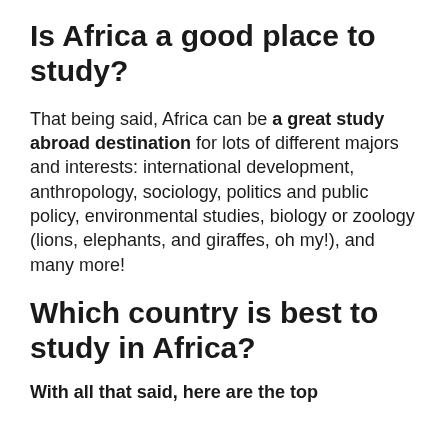Is Africa a good place to study?
That being said, Africa can be a great study abroad destination for lots of different majors and interests: international development, anthropology, sociology, politics and public policy, environmental studies, biology or zoology (lions, elephants, and giraffes, oh my!), and many more!
Which country is best to study in Africa?
With all that said, here are the top